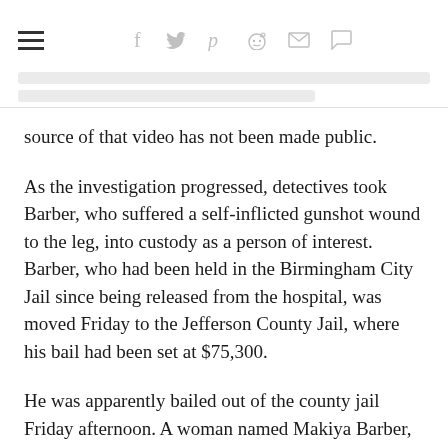[Navigation bar with hamburger menu and social share icons: Facebook, Twitter, Pinterest, Reddit, Email, Comment]
source of that video has not been made public.
As the investigation progressed, detectives took Barber, who suffered a self-inflicted gunshot wound to the leg, into custody as a person of interest. Barber, who had been held in the Birmingham City Jail since being released from the hospital, was moved Friday to the Jefferson County Jail, where his bail had been set at $75,300.
He was apparently bailed out of the county jail Friday afternoon. A woman named Makiya Barber, who identified herself as Michael Barber's sister, posted a photo on Facebook that showed him in street clothes, sitting in the backseat of a